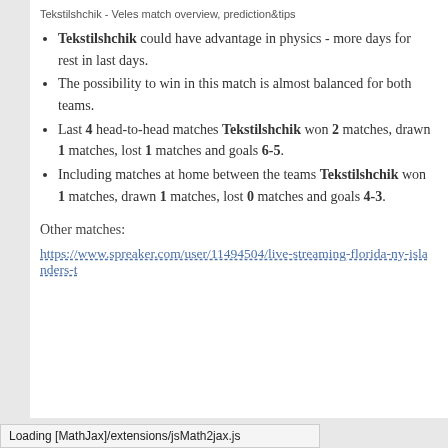Tekstilshchik - Veles match overview, prediction&tips
Tekstilshchik could have advantage in physics - more days for rest in last days.
The possibility to win in this match is almost balanced for both teams.
Last 4 head-to-head matches Tekstilshchik won 2 matches, drawn 1 matches, lost 1 matches and goals 6-5.
Including matches at home between the teams Tekstilshchik won 1 matches, drawn 1 matches, lost 0 matches and goals 4-3.
Other matches:
https://www.spreaker.com/user/11494504/live-streaming-florida-ny-islanders-t
Loading [MathJax]/extensions/jsMath2jax.js